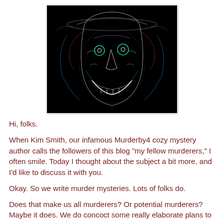[Figure (illustration): A dark, neon-glowing stylized illustration of a menacing face wearing a hat, rendered with bright swirling lines on a black background, resembling an edge-detection or neon filter effect applied to a horror character.]
Hi, folks.
When Kim Smith, our infamous Murderby4 cozy mystery author calls the followers of this blog "my fellow murderers," I often smile. Today I thought about the subject a bit more, and I'd like to discuss it with you.
Okay. So we write murder mysteries. Lots of folks do.
Does that make us all murderers? Or potential murderers? Maybe it does. We do concoct some really elaborate plans to